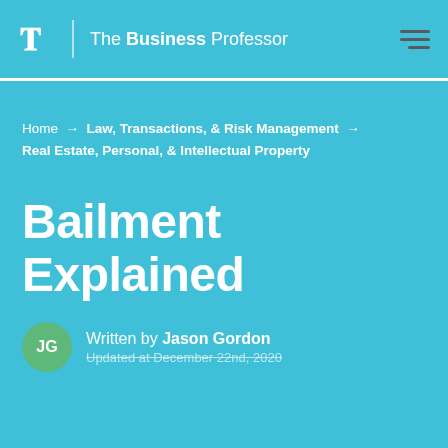The Business Professor
Home → Law, Transactions, & Risk Management → Real Estate, Personal, & Intellectual Property
Bailment Explained
Written by Jason Gordon
Updated at December 22nd, 2020